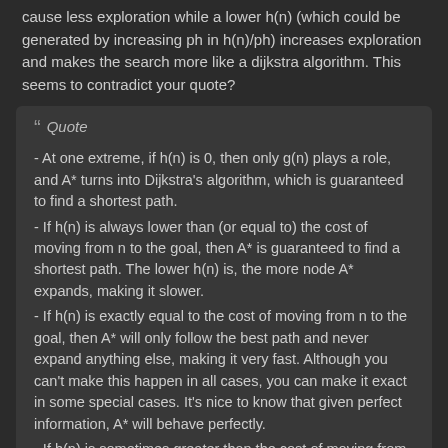cause less exploration while a lower h(n) (which could be generated by increasing ph in h(n)/ph) increases exploration and makes the search more like a dijkstra algorithm. This seems to contradict your quote?
Quote
- At one extreme, if h(n) is 0, then only g(n) plays a role, and A* turns into Dijkstra's algorithm, which is guaranteed to find a shortest path.
- If h(n) is always lower than (or equal to) the cost of moving from n to the goal, then A* is guaranteed to find a shortest path. The lower h(n) is, the more node A* expands, making it slower.
- If h(n) is exactly equal to the cost of moving from n to the goal, then A* will only follow the best path and never expand anything else, making it very fast. Although you can't make this happen in all cases, you can make it exact in some special cases. It's nice to know that given perfect information, A* will behave perfectly.
- If h(n) is sometimes greater than the cost of moving from n to the goal, then A* is not guaranteed to find a shortest path, but it can run faster.